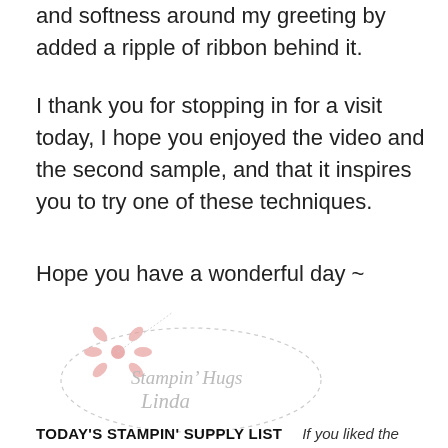and softness around my greeting by added a ripple of ribbon behind it.
I thank you for stopping in for a visit today, I hope you enjoyed the video and the second sample, and that it inspires you to try one of these techniques.
Hope you have a wonderful day ~
[Figure (illustration): A decorative signature stamp with a pink flower/pinwheel graphic and cursive text reading 'Stampin' Hugs Linda' in light gray italic font, inside an oval dashed border.]
TODAY'S STAMPIN' SUPPLY LIST   If you liked the